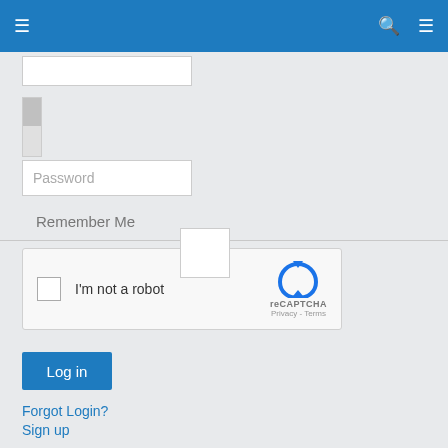≡  🔍  ≡
[Figure (screenshot): Partial username text input field (white box, partially visible)]
[Figure (screenshot): Scrollbar element, grey with thumb]
[Figure (screenshot): Password input field with placeholder text 'Password']
Remember Me
[Figure (screenshot): Floating white checkbox overlay square]
[Figure (screenshot): reCAPTCHA widget: checkbox, 'I'm not a robot', reCAPTCHA logo with Privacy - Terms]
[Figure (screenshot): Log in button (blue)]
Forgot Login?
Sign up
Nigeria Print Media
Premium Times